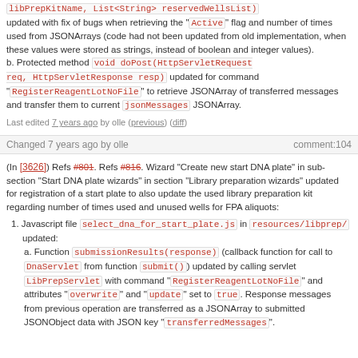libPrepKitName, List<String> reservedWellsList) updated with fix of bugs when retrieving the "Active" flag and number of times used from JSONArrays (code had not been updated from old implementation, when these values were stored as strings, instead of boolean and integer values). b. Protected method void doPost(HttpServletRequest req, HttpServletResponse resp) updated for command "RegisterReagentLotNoFile" to retrieve JSONArray of transferred messages and transfer them to current jsonMessages JSONArray.
Last edited 7 years ago by olle (previous) (diff)
Changed 7 years ago by olle    comment:104
(In [3626]) Refs #801. Refs #816. Wizard "Create new start DNA plate" in sub-section "Start DNA plate wizards" in section "Library preparation wizards" updated for registration of a start plate to also update the used library preparation kit regarding number of times used and unused wells for FPA aliquots:
1. Javascript file select_dna_for_start_plate.js in resources/libprep/ updated: a. Function submissionResults(response) (callback function for call to DnaServlet from function submit()) updated by calling servlet LibPrepServlet with command "RegisterReagentLotNoFile" and attributes "overwrite" and "update" set to true. Response messages from previous operation are transferred as a JSONArray to submitted JSONObject data with JSON key "transferredMessages".